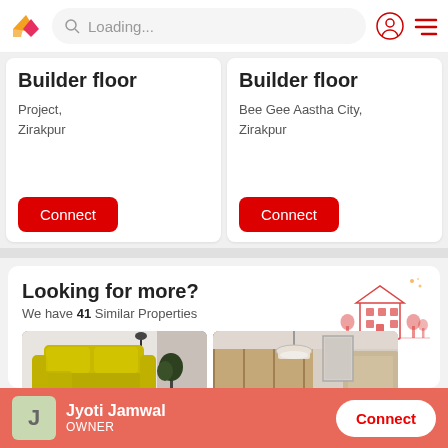Loading...
Builder floor
Project, Zirakpur
Builder floor
Bee Gee Aastha City, Zirakpur
Looking for more?
We have 41 Similar Properties
[Figure (photo): Yellow sofa in a room with white brick wall and floor lamp]
[Figure (photo): Modern room interior with pendant light and wooden doors]
[Figure (photo): Partial view of a room interior]
Jyoti Jamwal
OWNER